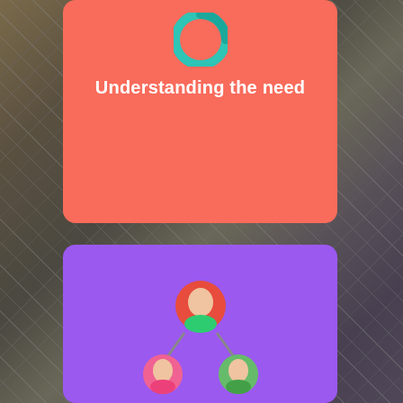[Figure (infographic): Aerial city background with two overlapping cards: a coral/red card on top showing 'Understanding the need' title with a teal/green circular icon, and a purple card on the bottom showing a network/people icon (red person on top connected to pink and green people below).]